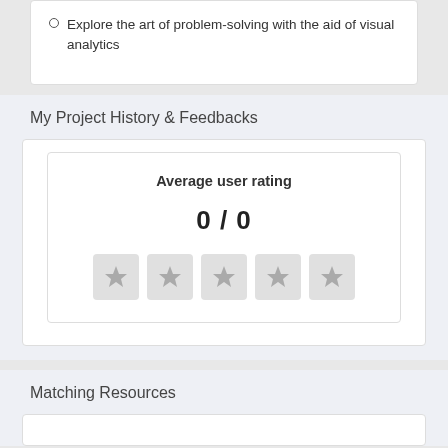Explore the art of problem-solving with the aid of visual analytics
My Project History & Feedbacks
Average user rating
0 / 0
[Figure (other): Five grey star rating boxes, all unrated/empty]
Matching Resources